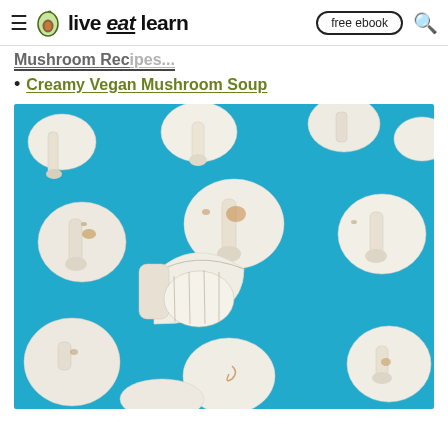≡ live eat learn  free ebook 🔍
Mushroom Recipes (partial, cut off)
Creamy Vegan Mushroom Soup
[Figure (photo): Flat-lay photo of white button mushrooms scattered on a bright blue background, some whole and some cut in half showing gills.]